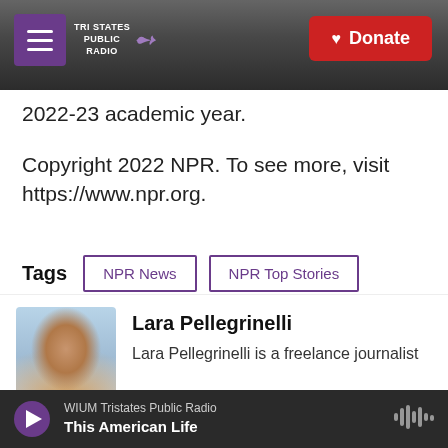[Figure (screenshot): Website header bar with Tri States Public Radio logo (hamburger menu icon on purple background, station name text, decorative wave) on the left, and a red Donate button with heart icon on the right, over a dark grey background photo of a radio tower]
2022-23 academic year.
Copyright 2022 NPR. To see more, visit https://www.npr.org.
Tags   NPR News   NPR Top Stories
[Figure (screenshot): Social sharing buttons row: Facebook (blue), Twitter (blue), LinkedIn (blue), Email (white with envelope icon)]
[Figure (photo): Headshot photo of Lara Pellegrinelli, a woman with brown hair, smiling, outdoors with blue sky background]
Lara Pellegrinelli
Lara Pellegrinelli is a freelance journalist
WIUM Tristates Public Radio  This American Life